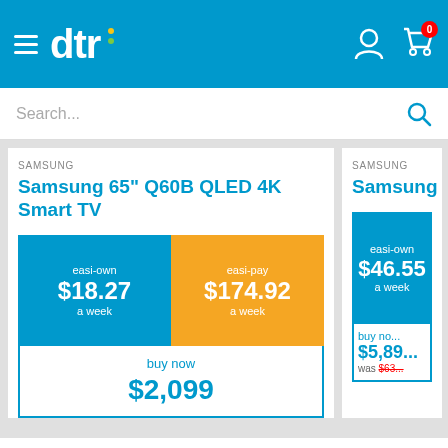[Figure (screenshot): DTR e-commerce website header with hamburger menu, DTR logo, user account icon, and cart icon with badge showing 0]
Search...
SAMSUNG
Samsung 65" Q60B QLED 4K Smart TV
easi-own $18.27 a week
easi-pay $174.92 a week
buy now $2,099
SAMSUNG
Samsung 85" Q70B... TV
easi-own $46.55 a week
buy now $5,89... was $63...
DISCLAIMER ABOUT FINANCIAL ADVICE: Limelight Financial Services Limited needs to